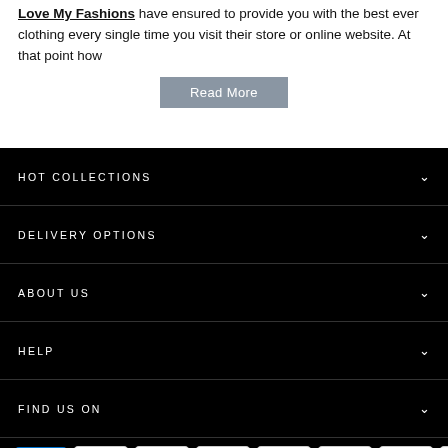Love My Fashions have ensured to provide you with the best ever clothing every single time you visit their store or online website. At that point how
Read More
HOT COLLECTIONS
DELIVERY OPTIONS
ABOUT US
HELP
FIND US ON
[Figure (other): Payment method badges: AMEX, Apple Pay, Diners Club, Discover, Google Pay, Maestro, Mastercard, reCAPTCHA, OPay, Visa, ICO]